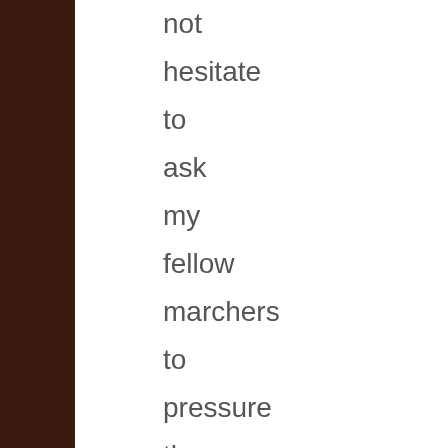not hesitate to ask my fellow marchers to pressure the London Feminists Network (with a petition perhaps?) to openly and actively include